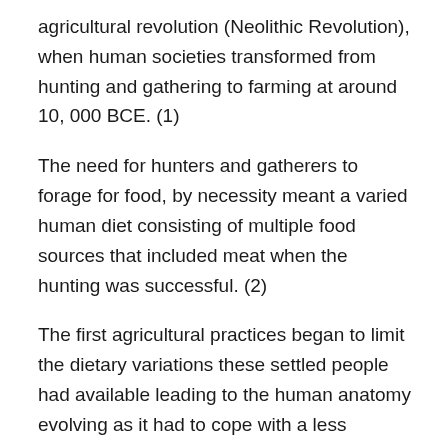agricultural revolution (Neolithic Revolution), when human societies transformed from hunting and gathering to farming at around 10, 000 BCE. (1)
The need for hunters and gatherers to forage for food, by necessity meant a varied human diet consisting of multiple food sources that included meat when the hunting was successful. (2)
The first agricultural practices began to limit the dietary variations these settled people had available leading to the human anatomy evolving as it had to cope with a less nutrient choice diet that was also protein rich.
A more modern analogy would be the